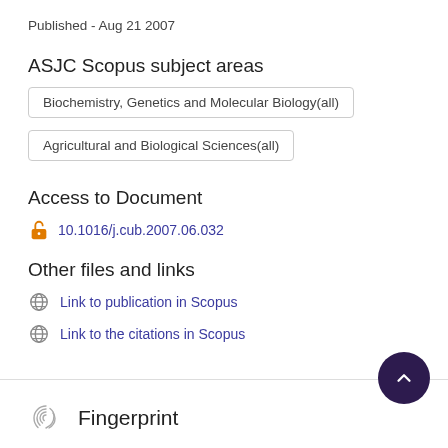Published - Aug 21 2007
ASJC Scopus subject areas
Biochemistry, Genetics and Molecular Biology(all)
Agricultural and Biological Sciences(all)
Access to Document
10.1016/j.cub.2007.06.032
Other files and links
Link to publication in Scopus
Link to the citations in Scopus
Fingerprint